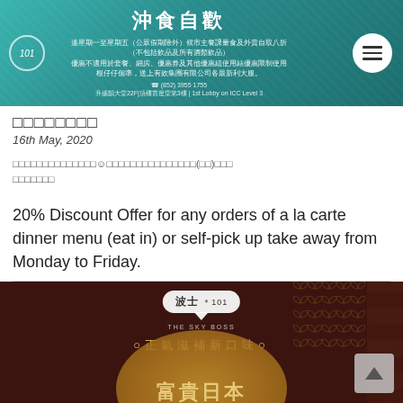[Figure (photo): Restaurant banner with teal/green background showing Chinese text for buffet/takeaway discount promotion, restaurant logo on left, menu icon on right]
□□□□□□□□
16th May, 2020
□□□□□□□□□□□□□□☺□□□□□□□□□□□□□□□(□□)□□□□□□□□□□□
20% Discount Offer for any orders of a la carte dinner menu (eat in) or self-pick up take away from Monday to Friday.
[Figure (photo): The Sky Boss restaurant promotional image with dark brown/maroon background, Chinese cloud logo, Japanese-style decorative patterns, gold circular element with large Chinese characters 富貴日本 淮山程]